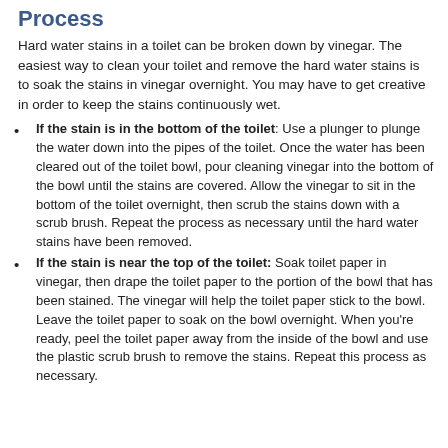Process
Hard water stains in a toilet can be broken down by vinegar. The easiest way to clean your toilet and remove the hard water stains is to soak the stains in vinegar overnight. You may have to get creative in order to keep the stains continuously wet.
If the stain is in the bottom of the toilet: Use a plunger to plunge the water down into the pipes of the toilet. Once the water has been cleared out of the toilet bowl, pour cleaning vinegar into the bottom of the bowl until the stains are covered. Allow the vinegar to sit in the bottom of the toilet overnight, then scrub the stains down with a scrub brush. Repeat the process as necessary until the hard water stains have been removed.
If the stain is near the top of the toilet: Soak toilet paper in vinegar, then drape the toilet paper to the portion of the bowl that has been stained. The vinegar will help the toilet paper stick to the bowl. Leave the toilet paper to soak on the bowl overnight. When you're ready, peel the toilet paper away from the inside of the bowl and use the plastic scrub brush to remove the stains. Repeat this process as necessary.